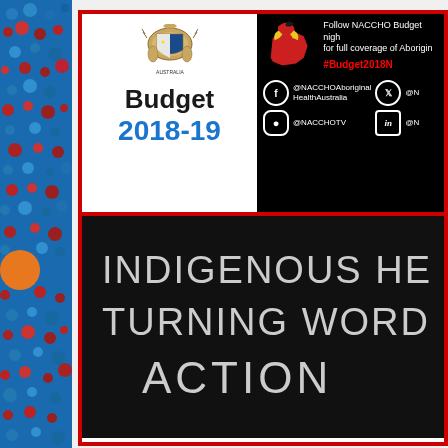[Figure (illustration): Decorative left strip with Aboriginal dot art pattern on blue background with red, orange, white circles]
[Figure (logo): Australian Government coat of arms emblem above Budget 2018-19 text]
Budget 2018-19
[Figure (logo): NACCHO Aboriginal Health Australia logo - red/yellow bird over map of Australia]
Follow NACCHO Budget night for full coverage of Aboriginal
#Budget2018N
@NACCHOAboriginalHealthAustralia
@NACCHOTV
INDIGENOUS HE
TURNING WORD
ACTION